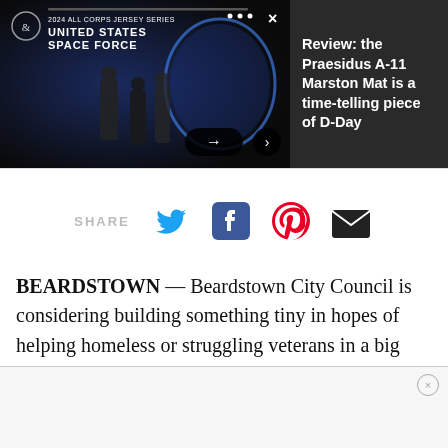[Figure (screenshot): Dark banner showing United States Space Force promotional image on the left side with navigation dots and close button, and on the right side text reading 'Review: the Praesidus A-11 Marston Mat is a time-telling piece of D-Day']
Review: the Praesidus A-11 Marston Mat is a time-telling piece of D-Day
[Figure (infographic): Social share row with SHARE label and icons for Twitter, Facebook, Pinterest, and Email]
BEARDSTOWN — Beardstown City Council is considering building something tiny in hopes of helping homeless or struggling veterans in a big way.
[Figure (other): Advertisement placeholder box with close X button]